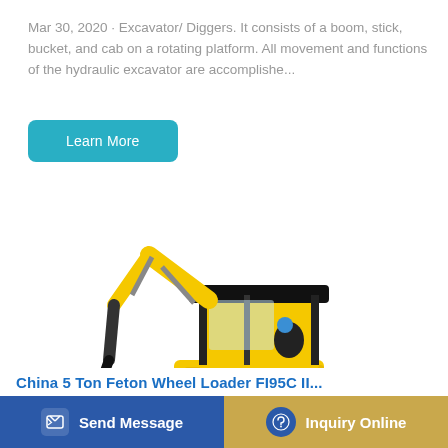Mar 30, 2020 · Excavator/ Diggers. It consists of a boom, stick, bucket, and cab on a rotating platform. All movement and functions of the hydraulic excavator are accomplishe...
Learn More
[Figure (photo): Yellow and black mini excavator with bucket attachment and rubber tracks on white background]
Send Message
Inquiry Online
China 5 Ton Feton Wheel Loader FI95C II...